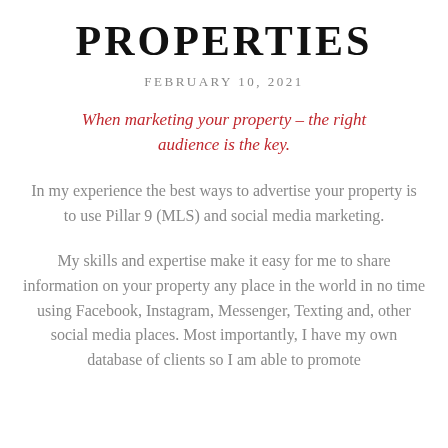PROPERTIES
FEBRUARY 10, 2021
When marketing your property – the right audience is the key.
In my experience the best ways to advertise your property is to use Pillar 9 (MLS) and social media marketing.
My skills and expertise make it easy for me to share information on your property any place in the world in no time using Facebook, Instagram, Messenger, Texting and, other social media places. Most importantly, I have my own database of clients so I am able to promote